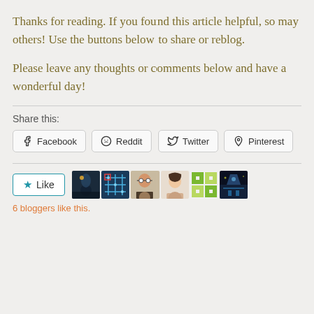Thanks for reading. If you found this article helpful, so may others! Use the buttons below to share or reblog.
Please leave any thoughts or comments below and have a wonderful day!
Share this:
Facebook  Reddit  Twitter  Pinterest
Like
6 bloggers like this.